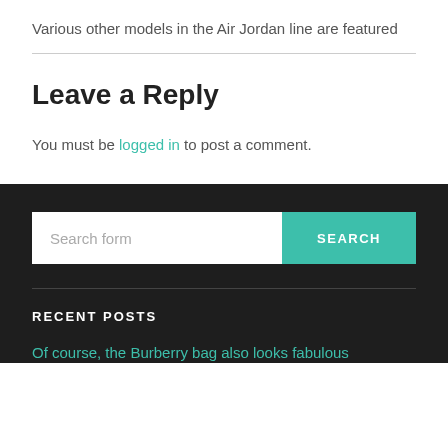Various other models in the Air Jordan line are featured
Leave a Reply
You must be logged in to post a comment.
Search form
RECENT POSTS
Of course, the Burberry bag also looks fabulous